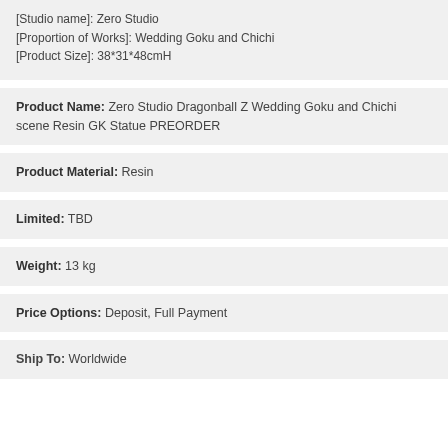[Studio name]: Zero Studio
[Proportion of Works]: Wedding Goku and Chichi
[Product Size]: 38*31*48cmH
Product Name: Zero Studio Dragonball Z Wedding Goku and Chichi scene Resin GK Statue PREORDER
Product Material: Resin
Limited: TBD
Weight: 13 kg
Price Options: Deposit, Full Payment
Ship To: Worldwide